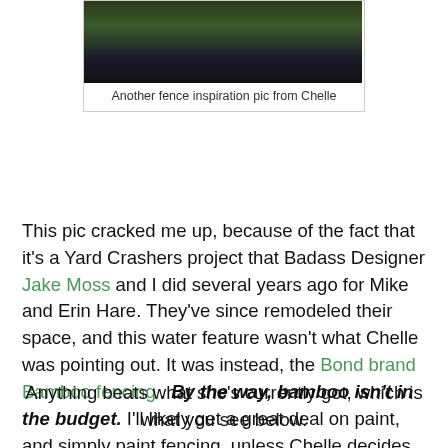[Figure (photo): Partial view of a garden/yard scene showing plants and what appears to be a water feature or fencing, cropped at top]
Another fence inspiration pic from Chelle
This pic cracked me up, because of the fact that it's a Yard Crashers project that Badass Designer Jake Moss and I did several years ago for Mike and Erin Hare. They've since remodeled their space, and this water feature wasn't what Chelle was pointing out. It was instead, the Bond brand Bamboo fencing . By the way, bamboo isn't in the budget. I'll likely get a great deal on paint, and simply paint fencing, unless Chelle decides to dig a lil deeper.
Anything beats what she's currently got, which is what you see below.